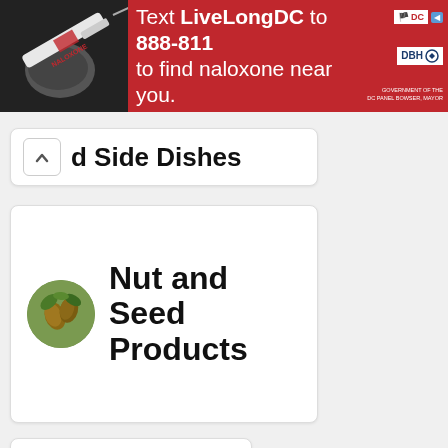[Figure (infographic): Red banner advertisement: 'Text LiveLongDC to 888-811 to find naloxone near you.' with a syringe photo on the left and DC government logos on the right.]
d Side Dishes
Nut and Seed Products
Pork Products